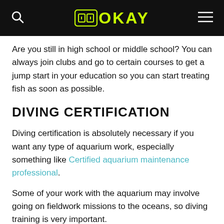OKAY (logo with icon)
Are you still in high school or middle school? You can always join clubs and go to certain courses to get a jump start in your education so you can start treating fish as soon as possible.
DIVING CERTIFICATION
Diving certification is absolutely necessary if you want any type of aquarium work, especially something like Certified aquarium maintenance professional.
Some of your work with the aquarium may involve going on fieldwork missions to the oceans, so diving training is very important.
You may also need diving training to work on larger tanks inside the aquarium. An oxygen tank makes the cleaning and maintenance of the complexes much more efficient so that you do not have to go up in the air regularly.